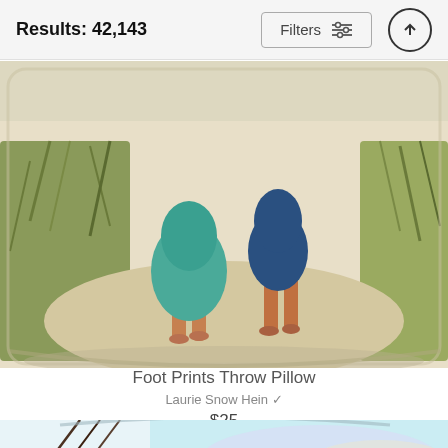Results: 42,143
[Figure (photo): Throw pillow with painted artwork of two children walking barefoot on a sandy beach among tall grass, viewed from behind, wearing blue and teal clothing]
Foot Prints Throw Pillow
Laurie Snow Hein
$25
[Figure (photo): Bottom portion of a throw pillow with colorful artistic design featuring guitar strings and pastel sky colors]